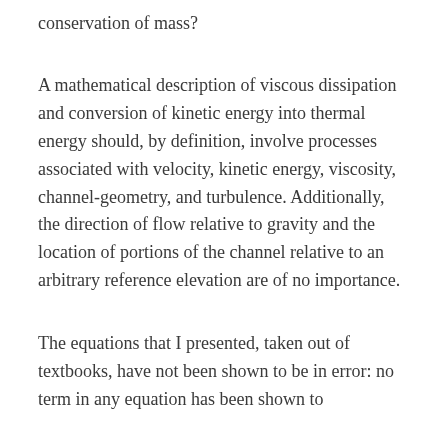conservation of mass?
A mathematical description of viscous dissipation and conversion of kinetic energy into thermal energy should, by definition, involve processes associated with velocity, kinetic energy, viscosity, channel-geometry, and turbulence. Additionally, the direction of flow relative to gravity and the location of portions of the channel relative to an arbitrary reference elevation are of no importance.
The equations that I presented, taken out of textbooks, have not been shown to be in error: no term in any equation has been shown to